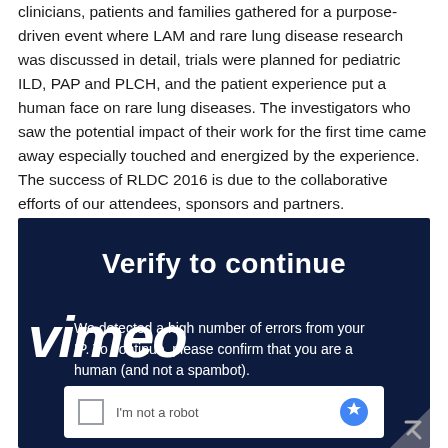clinicians, patients and families gathered for a purpose-driven event where LAM and rare lung disease research was discussed in detail, trials were planned for pediatric ILD, PAP and PLCH, and the patient experience put a human face on rare lung diseases. The investigators who saw the potential impact of their work for the first time came away especially touched and energized by the experience. The success of RLDC 2016 is due to the collaborative efforts of our attendees, sponsors and partners.
[Figure (screenshot): Screenshot of a Vimeo 'Verify to continue' bot-check page with dark navy background. Shows 'Verify to continue' title, the Vimeo logo watermark overlaid on body text reading 'We detected a high number of errors from your IP. To continue, please confirm that you are a human (and not a spambot).' A CAPTCHA checkbox widget is partially visible at the bottom.]